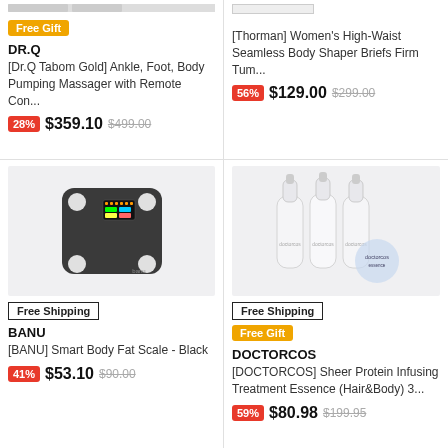[Figure (other): DR.Q ankle foot body massager product (partially visible at top)]
Free Gift
DR.Q
[Dr.Q Tabom Gold] Ankle, Foot, Body Pumping Massager with Remote Con...
28% $359.10 $499.00
[Figure (other): [Thorman] Women's High-Waist Seamless Body Shaper Briefs Firm Tum... product image (partially visible)]
[Thorman] Women's High-Waist Seamless Body Shaper Briefs Firm Tum...
56% $129.00 $299.00
[Figure (photo): BANU Smart Body Fat Scale - Black, a dark square digital scale with LED display and four corner pads]
Free Shipping
BANU
[BANU] Smart Body Fat Scale - Black
41% $53.10 $90.00
[Figure (photo): DOCTORCOS Sheer Protein Infusing Treatment Essence (Hair&Body) - three white spray bottles with a decorative blue circle badge]
Free Shipping
Free Gift
DOCTORCOS
[DOCTORCOS] Sheer Protein Infusing Treatment Essence (Hair&Body) 3...
59% $80.98 $199.95